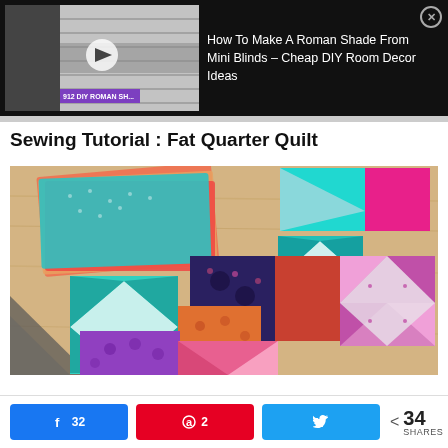[Figure (screenshot): Video thumbnail showing mini blinds converted to Roman shade with play button overlay, on black background. Label reads '912 DIY ROMAN SH...' in purple banner. Title text: 'How To Make A Roman Shade From Mini Blinds – Cheap DIY Room Decor Ideas']
Sewing Tutorial : Fat Quarter Quilt
[Figure (photo): Photo of colorful patchwork quilt blocks arranged on a light wood table. Blocks feature teal, orange, pink, purple, and navy fabrics with triangular pinwheel/star patterns.]
f 32  a 2  N  < 34 SHARES